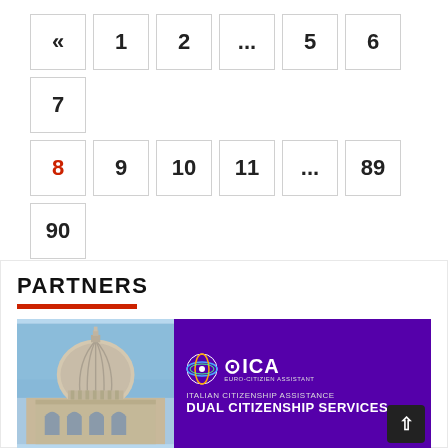« 1 2 ... 5 6 7
8 9 10 11 ... 89 90
»
PARTNERS
[Figure (illustration): ICA Italian Citizenship Assistance – Dual Citizenship Services banner with Venice dome image on left and purple background with logo and text on right]